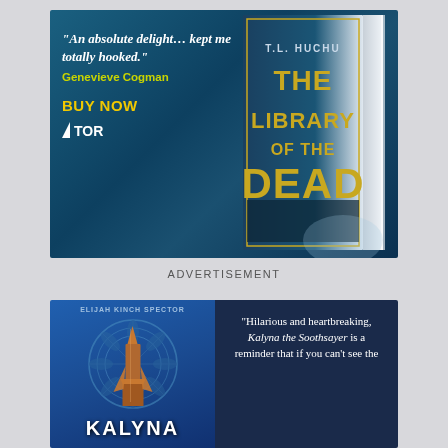[Figure (illustration): Book advertisement for 'The Library of the Dead' by T.L. Huchu. Blue teal background with book cover showing castle/library imagery. Quote: 'An absolute delight... kept me totally hooked.' Genevieve Cogman. BUY NOW. TOR publisher logo.]
ADVERTISEMENT
[Figure (illustration): Book advertisement for 'Kalyna' (Elijah Kinch Spector series). Blue background with decorative mandala and tower/rocket centerpiece. Right side dark navy with quote: 'Hilarious and heartbreaking, Kalyna the Soothsayer is a reminder that if you can't see the']